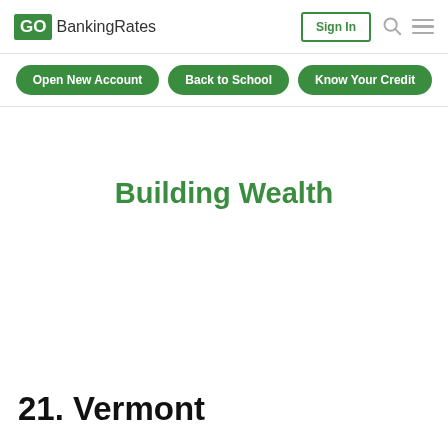GOBankingRates
Building Wealth
21. Vermont